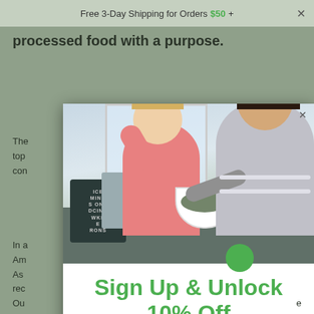Free 3-Day Shipping for Orders $50 +
processed food with a purpose.
The [partially obscured] top [partially obscured] con[partially obscured]
In a[partially obscured] Am[partially obscured] As [partially obscured] rec[partially obscured]
We [partially obscured] the[partially obscured] d ing[partially obscured]
Ou[partially obscured] e
[Figure (photo): Two girls, one younger in pink top with blond hair looking at a bowl of food, one older with dark hair pointing at the bowl, sitting indoors near a window]
Sign Up & Unlock 10% Off
Sign up to receive emails and unlock a 10% discount code.